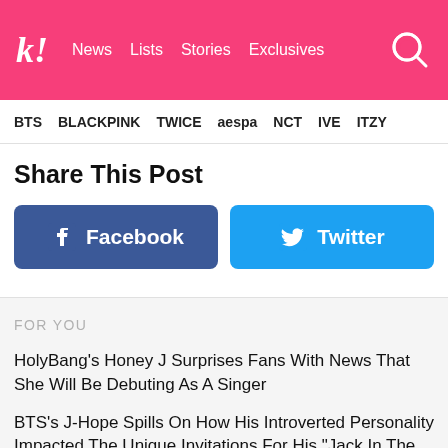k! News Lists Stories Exclusives
BTS BLACKPINK TWICE aespa NCT IVE ITZY
Share This Post
[Figure (other): Facebook share button (blue) and Twitter share button (light blue) side by side]
FOR YOU
HolyBang's Honey J Surprises Fans With News That She Will Be Debuting As A Singer
BTS's J-Hope Spills On How His Introverted Personality Impacted The Unique Invitations For His "Jack In The Box" Listening Party Guests